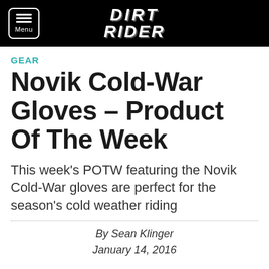DIRT RIDER
GEAR
Novik Cold-War Gloves – Product Of The Week
This week's POTW featuring the Novik Cold-War gloves are perfect for the season's cold weather riding
By Sean Klinger
January 14, 2016